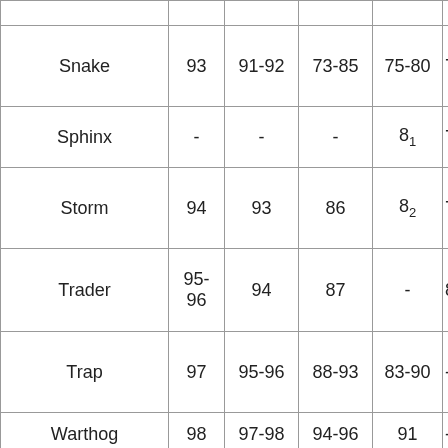|  |  |  |  |  |  |
| Snake | 93 | 91-92 | 73-85 | 75-80 | 75- |
| Sphinx | - | - | - | 81 | 77- |
| Storm | 94 | 93 | 86 | 82 | 79 |
| Trader | 95-
96 | 94 | 87 | - | 80- |
| Trap | 97 | 95-96 | 88-93 | 83-90 | - |
| Warthog | 98 | 97-98 | 94-96 | 91 | - |